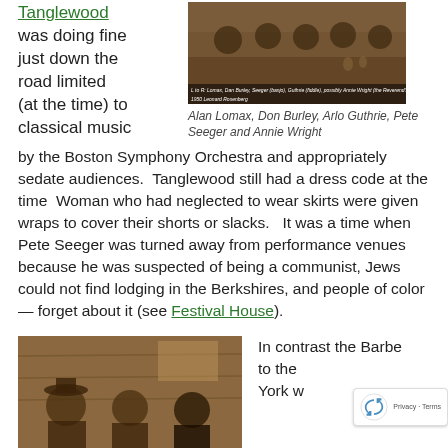Tanglewood was doing fine just down the road limited (at the time) to classical music
[Figure (photo): Group photo at a table: L to R: Lomax, Dan Burley, Seeger (banjo), Guthrie (fiddle), possibly Annie Wright (the Reverend's wife) © 1950 Leonard Rosenberg]
Alan Lomax, Don Burley, Arlo Guthrie, Pete Seeger and Annie Wright
by the Boston Symphony Orchestra and appropriately sedate audiences.  Tanglewood still had a dress code at the time  Woman who had neglected to wear skirts were given wraps to cover their shorts or slacks.   It was a time when Pete Seeger was turned away from performance venues because he was suspected of being a communist, Jews could not find lodging in the Berkshires, and people of color — forget about it (see Festival House).
[Figure (photo): Vintage sepia photograph showing people seated inside a wooden building.]
In contrast the Barbe... to the... York w...